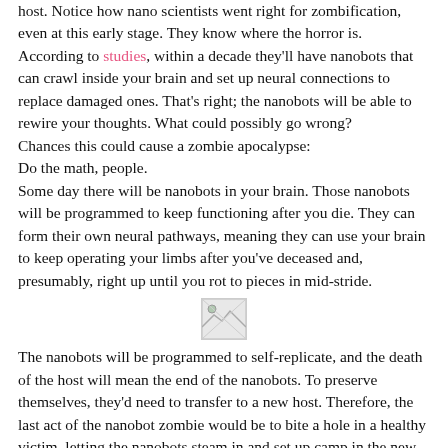host. Notice how nano scientists went right for zombification, even at this early stage. They know where the horror is. According to studies, within a decade they'll have nanobots that can crawl inside your brain and set up neural connections to replace damaged ones. That's right; the nanobots will be able to rewire your thoughts. What could possibly go wrong? Chances this could cause a zombie apocalypse: Do the math, people. Some day there will be nanobots in your brain. Those nanobots will be programmed to keep functioning after you die. They can form their own neural pathways, meaning they can use your brain to keep operating your limbs after you've deceased and, presumably, right up until you rot to pieces in mid-stride.
[Figure (photo): Small broken/placeholder image icon in center of page]
The nanobots will be programmed to self-replicate, and the death of the host will mean the end of the nanobots. To preserve themselves, they'd need to transfer to a new host. Therefore, the last act of the nanobot zombie would be to bite a hole in a healthy victim, letting the nanobots steam in and set up camp in the new host. Once in, they can shut down the part of the brain that resists (the cortex) and leave the brain stem intact. They will have added a